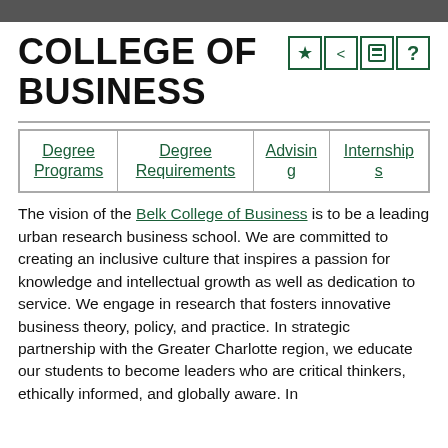COLLEGE OF BUSINESS
| Degree Programs | Degree Requirements | Advising | Internships |
| --- | --- | --- | --- |
The vision of the Belk College of Business is to be a leading urban research business school. We are committed to creating an inclusive culture that inspires a passion for knowledge and intellectual growth as well as dedication to service. We engage in research that fosters innovative business theory, policy, and practice. In strategic partnership with the Greater Charlotte region, we educate our students to become leaders who are critical thinkers, ethically informed, and globally aware. In